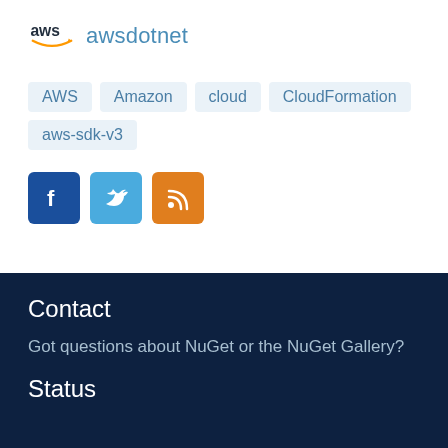awsdotnet
AWS
Amazon
cloud
CloudFormation
aws-sdk-v3
[Figure (logo): Facebook, Twitter, and RSS social media icons]
Contact
Got questions about NuGet or the NuGet Gallery?
Status